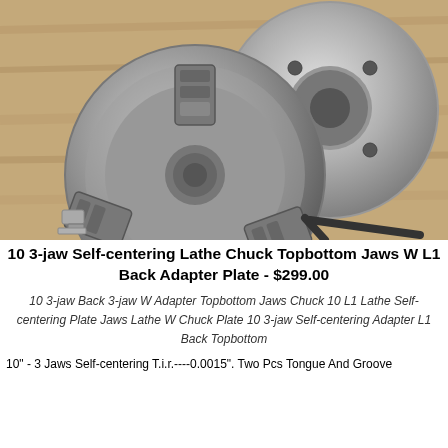[Figure (photo): Photo of a 10-inch 3-jaw self-centering lathe chuck with back adapter plate, jaw parts, and wrench tool on a wooden surface]
10 3-jaw Self-centering Lathe Chuck Topbottom Jaws W L1 Back Adapter Plate - $299.00
10 3-jaw Back 3-jaw W Adapter Topbottom Jaws Chuck 10 L1 Lathe Self-centering Plate Jaws Lathe W Chuck Plate 10 3-jaw Self-centering Adapter L1 Back Topbottom
10" - 3 Jaws Self-centering T.i.r.----0.0015". Two Pcs Tongue And Groove